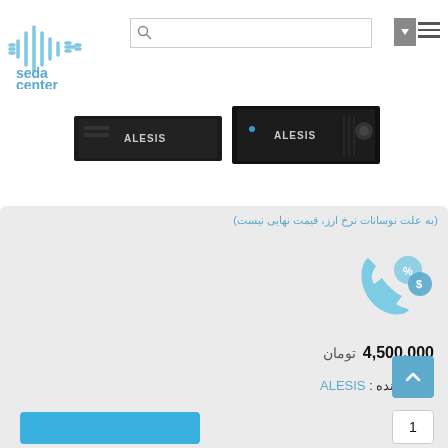[Figure (logo): Seda Center logo — stylized audio waveform/soundbar icon in light blue with text 'seda center' below]
[Figure (screenshot): Search bar with magnifying glass icon and dropdown arrow, and hamburger menu icon on the right]
[Figure (photo): Alesis brand audio equipment — two flat rack-mount units side by side (black) with 'ALESIS' branding on front panels]
(به علت نوسانات نرخ ارز، قیمت نهایی نیست)
[Figure (illustration): Customer service / call icon with percent and dollar speech bubbles in blue tones]
4,500,000 تومان
تولید کننده : ALESIS
1